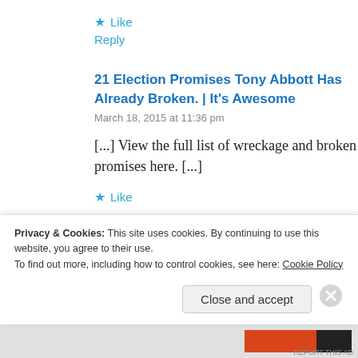★ Like
Reply
21 Election Promises Tony Abbott Has Already Broken. | It's Awesome
March 18, 2015 at 11:36 pm
[...] View the full list of wreckage and broken promises here. [...]
★ Like
Privacy & Cookies: This site uses cookies. By continuing to use this website, you agree to their use.
To find out more, including how to control cookies, see here: Cookie Policy
Close and accept